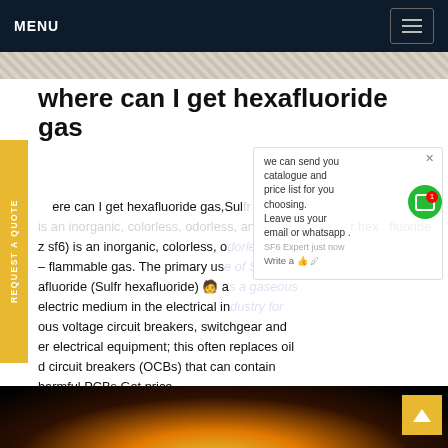MENU
where can I get hexafluoride gas
where can I get hexafluoride gas,Sulfr hexafluoride (also known as sf6) is an inorganic, colorless, odorless, and non-flammable gas. The primary use of Sulfr hexafluoride (Sulfr hexafluoride) as a gaseous dielectric medium in the electrical industry for high-voltage circuit breakers, switchgear and other electrical equipment; this often replaces oil filled circuit breakers (OCBs) that can contain harmful PCBs.Get price
[Figure (screenshot): Chat popup overlay with text: we can send you catalogue and price list for you choosing. Leave us your email or whatsapp. SF6 Expert just now. Write a message.]
[Figure (photo): Dark nighttime photo showing electrical equipment with bright light glow at bottom of page.]